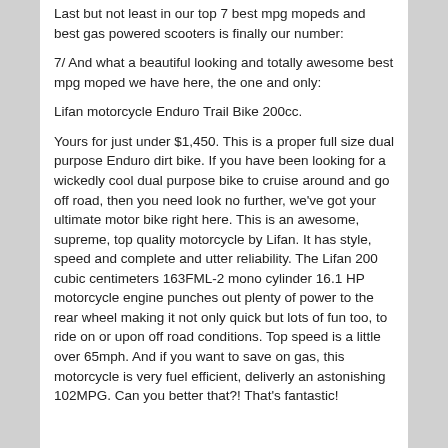Last but not least in our top 7 best mpg mopeds and best gas powered scooters is finally our number:
7/ And what a beautiful looking and totally awesome best mpg moped we have here, the one and only:
Lifan motorcycle Enduro Trail Bike 200cc.
Yours for just under $1,450. This is a proper full size dual purpose Enduro dirt bike. If you have been looking for a wickedly cool dual purpose bike to cruise around and go off road, then you need look no further, we've got your ultimate motor bike right here. This is an awesome, supreme, top quality motorcycle by Lifan. It has style, speed and complete and utter reliability. The Lifan 200 cubic centimeters 163FML-2 mono cylinder 16.1 HP motorcycle engine punches out plenty of power to the rear wheel making it not only quick but lots of fun too, to ride on or upon off road conditions. Top speed is a little over 65mph. And if you want to save on gas, this motorcycle is very fuel efficient, deliverly an astonishing 102MPG. Can you better that?! That's fantastic!